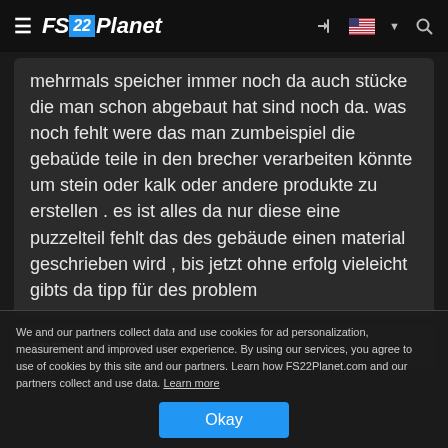FS22Planet
mehrmals speicher immer noch da auch stücke die man schon abgebaut hat sind noch da. was noch fehlt were das man zumbeispiel die gebaüde teile in den brecher verarbeiten könnte um stein oder kalk oder andere produkte zu erstellen . es ist alles da nur diese eine puzzelteil fehlt das des gebäude einen material geschrieben wird , bis jetzt ohne erfolg vieleicht gibts da tipp für des problem
TRENDING TODAY
We and our partners collect data and use cookies for ad personalization, measurement and improved user experience. By using our services, you agree to use of cookies by this site and our partners. Learn how FS22Planet.com and our partners collect and use data. Learn more